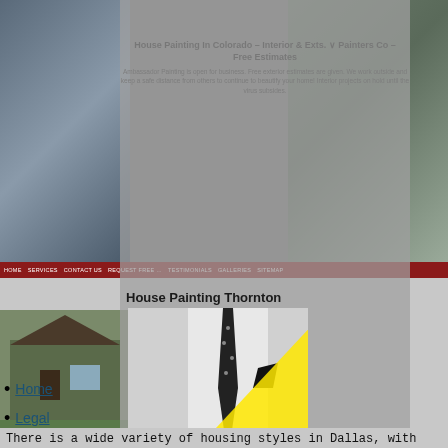[Figure (screenshot): Website screenshot showing house painting service page with banner image of a house, navigation bar, and content sections]
House Painting Thornton
[Figure (photo): Black and white photo of a man in a suit with a polka-dot tie and pocket square, overlaid with a yellow triangle graphic element]
Home
Legal
Sitemap
There is a wide variety of housing styles in Dallas, with